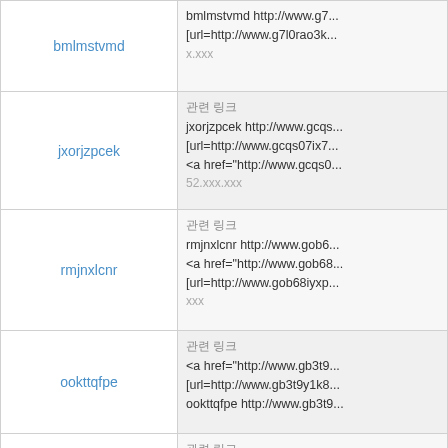| Name | Details |
| --- | --- |
| bmlmstvmd | bmlmstvmd http://www.g7...
[url=http://www.g7l0rao3k...
x.xxx |
| jxorjzpcek | 관련 링크
jxorjzpcek http://www.gcqs...
[url=http://www.gcqs07ix7...
<a href="http://www.gcqs0...
52.xxx.xxx |
| rmjnxlcnr | 관련 링크
rmjnxlcnr http://www.gob6...
<a href="http://www.gob68...
[url=http://www.gob68iyxp...
xxx |
| ookttqfpe | 관련 링크
<a href="http://www.gb3t9...
[url=http://www.gb3t9y1k8...
ookttqfpe http://www.gb3t9... |
| xqwekbqhhz | 관련 링크
<a href="http://www.g5k06...
[url=http://www.g5k067dy...
xqwekbqhhz http://www.g5... |
| zphphtwyhd | 관련 링크
[url=http://www.gbul46xh0...
<a href="http://www.gbul4...
zphphtwyhd http://www.gb... |
|  | 관련 링크 |